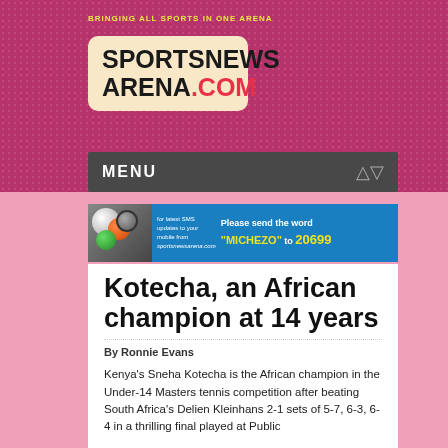BRINGING ALL SPORTS IN ONE ARENA
[Figure (logo): SportsnewsArena.com logo in a rounded beige box with black bold text and red .COM]
MENU
[Figure (infographic): SMS advertisement banner: sports balls image on left, text 'for latest SMS updates to your mobile from sportsnewsarena.com', right side says 'Please send the word "MICHEZO" to 20699']
Kotecha, an African champion at 14 years
By Ronnie Evans
Kenya's Sneha Kotecha is the African champion in the Under-14 Masters tennis competition after beating South Africa's Delien Kleinhans 2-1 sets of 5-7, 6-3, 6-4 in a thrilling final played at Public